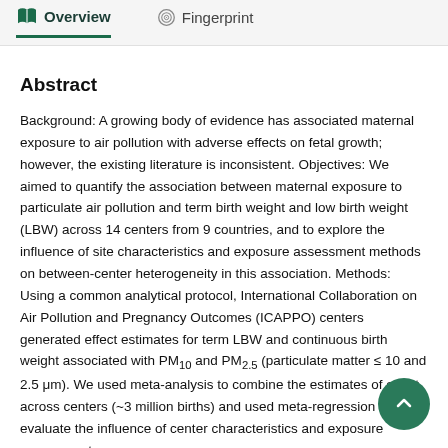Overview   Fingerprint
Abstract
Background: A growing body of evidence has associated maternal exposure to air pollution with adverse effects on fetal growth; however, the existing literature is inconsistent. Objectives: We aimed to quantify the association between maternal exposure to particulate air pollution and term birth weight and low birth weight (LBW) across 14 centers from 9 countries, and to explore the influence of site characteristics and exposure assessment methods on between-center heterogeneity in this association. Methods: Using a common analytical protocol, International Collaboration on Air Pollution and Pregnancy Outcomes (ICAPPO) centers generated effect estimates for term LBW and continuous birth weight associated with PM10 and PM2.5 (particulate matter ≤ 10 and 2.5 μm). We used meta-analysis to combine the estimates of effect across centers (~3 million births) and used meta-regression to evaluate the influence of center characteristics and exposure assessment